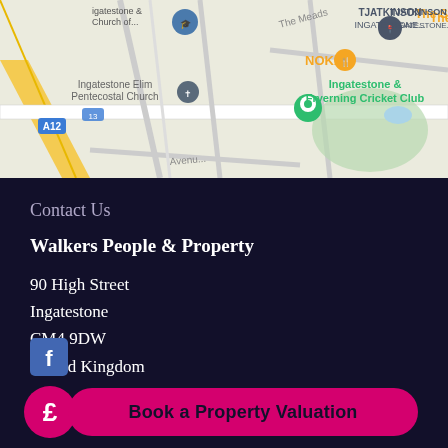[Figure (map): Google Maps screenshot showing area around Ingatestone, UK with landmarks: The Star Inn, TJATKINSON INGATESTONE, NOKA, Ingatestone Elim Pentecostal Church, Ingatestone & Fryerning Cricket Club. A12 road visible on left.]
Contact Us
Walkers People & Property
90 High Street
Ingatestone
CM4 9DW
United Kingdom
Follow Us
[Figure (illustration): Facebook icon (white F on blue background) partially visible at bottom left]
[Figure (illustration): Pink speech bubble with pound sign (£) icon overlapping the CTA button]
Book a Property Valuation